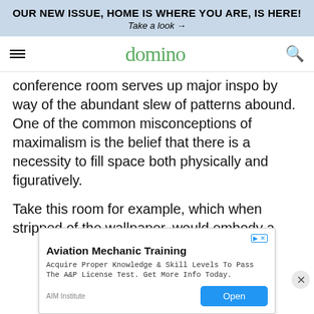OUR NEW ISSUE, HOME IS WHERE YOU ARE, IS HERE!
Take a look →
domino
conference room serves up major inspo by way of the abundant slew of patterns abound. One of the common misconceptions of maximalism is the belief that there is a necessity to fill space both physically and figuratively.
Take this room for example, which when stripped of the wallpaper, would embody a
[Figure (other): Advertisement for Aviation Mechanic Training by AIM Institute. Text: 'Acquire Proper Knowledge & Skill Levels To Pass The A&P License Test. Get More Info Today.' with an Open button.]